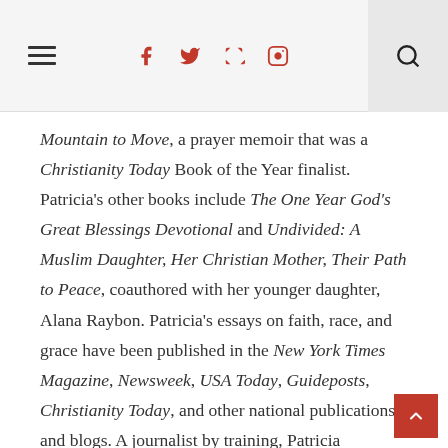☰ f t p ◻ 🔍
Mountain to Move, a prayer memoir that was a Christianity Today Book of the Year finalist. Patricia's other books include The One Year God's Great Blessings Devotional and Undivided: A Muslim Daughter, Her Christian Mother, Their Path to Peace, coauthored with her younger daughter, Alana Raybon. Patricia's essays on faith, race, and grace have been published in the New York Times Magazine, Newsweek, USA Today, Guideposts, Christianity Today, and other national publications and blogs. A journalist by training, Patricia